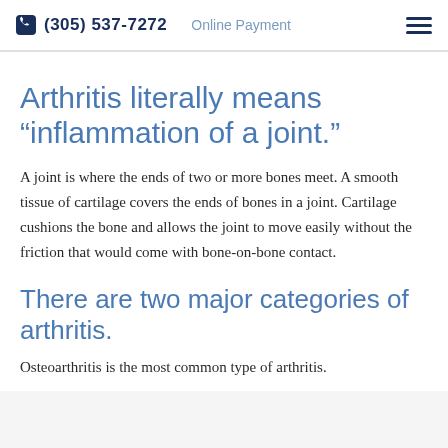(305) 537-7272  Online Payment
Arthritis literally means “inflammation of a joint.”
A joint is where the ends of two or more bones meet. A smooth tissue of cartilage covers the ends of bones in a joint. Cartilage cushions the bone and allows the joint to move easily without the friction that would come with bone-on-bone contact.
There are two major categories of arthritis.
Osteoarthritis is the most common type of arthritis.